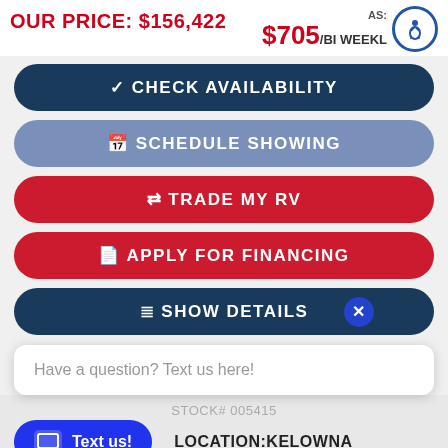OUR PRICE: $156,422
AS: $705/BI WEEKLY
✓ CHECK AVAILABILITY
📅 SCHEDULE SHOWING
⇌ TRADE MY RV
💲 APPLY FOR FINANCING
☰ SHOW DETAILS
Have a question? Text us here!
STOCK#: (partial)
Text us!
LOCATION: KELOWNA